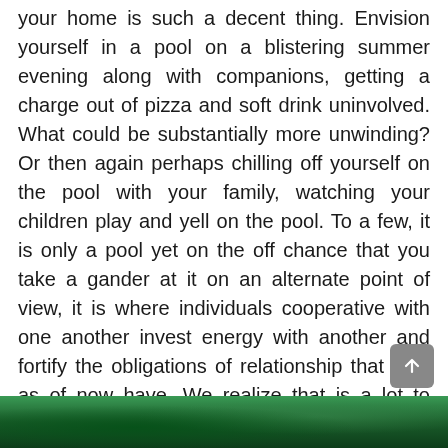your home is such a decent thing. Envision yourself in a pool on a blistering summer evening along with companions, getting a charge out of pizza and soft drink uninvolved. What could be substantially more unwinding? Or then again perhaps chilling off yourself on the pool with your family, watching your children play and yell on the pool. To a few, it is only a pool yet on the off chance that you take a gander at it on an alternate point of view, it is where individuals cooperative with one another invest energy with another and fortify the obligations of relationship that they as of now have. We realize that is a lot to state yet that is reality. That is the reason it is significant for you to realize how to clean your pool utilizing the most proficient instruments and keep up it to keep it looking great as usual.
[Figure (photo): A green pool or garden image strip shown at the bottom of the page]